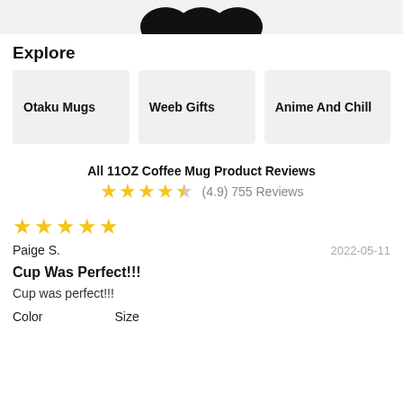[Figure (other): Top bar with three dark icon shapes on a light gray background]
Explore
Otaku Mugs
Weeb Gifts
Anime And Chill
All 11OZ Coffee Mug Product Reviews
(4.9) 755 Reviews
5 stars
Paige S.
2022-05-11
Cup Was Perfect!!!
Cup was perfect!!!
Color
Size